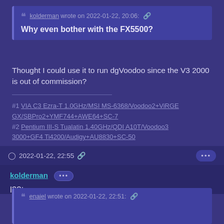❝ kolderman wrote on 2022-01-22, 20:06: 🔗
Why even bother with the FX5500?
Thought I could use it to run dgVoodoo since the V3 2000 is out of commission?
#1 VIA C3 Ezra-T 1.0GHz/MSI MS-6368/Voodoo2+ViRGE GX/SBPro2+YMF744+AWE64+SC-7
#2 Pentium III-S Tualatin 1.40GHz/QDI A10T/Voodoo3 3000+GF4 Ti4200/Audigy+AU8830+SC-50
🕐 2022-01-22, 22:55 🔗 •••
kolderman ••• 
l33t
❝ enaiel wrote on 2022-01-22, 22:51: 🔗